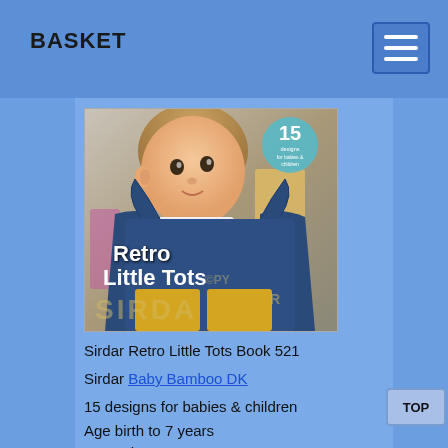BASKET
[Figure (photo): Book cover of Sirdar Retro Little Tots Book 521 showing a baby wearing a navy knitted pinafore, with a teal badge showing '15' and the title 'Retro Little Tots' in white text. A SIRDAR watermark is overlaid.]
Sirdar Retro Little Tots Book 521
Sirdar Baby Bamboo DK
15 designs for babies & children
Age birth to 7 years
In Stock